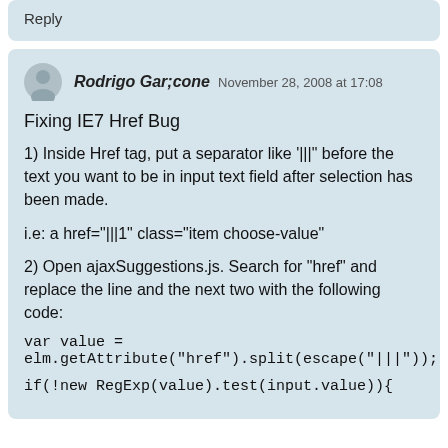Reply
Rodrigo Gar;cone November 28, 2008 at 17:08
Fixing IE7 Href Bug
1) Inside Href tag, put a separator like '|||' before the text you want to be in input text field after selection has been made.
i.e: a href="|||1" class="item choose-value"
2) Open ajaxSuggestions.js. Search for "href" and replace the line and the next two with the following code:
var value = elm.getAttribute("href").split(escape("|||"));
if(!new RegExp(value).test(input.value)){